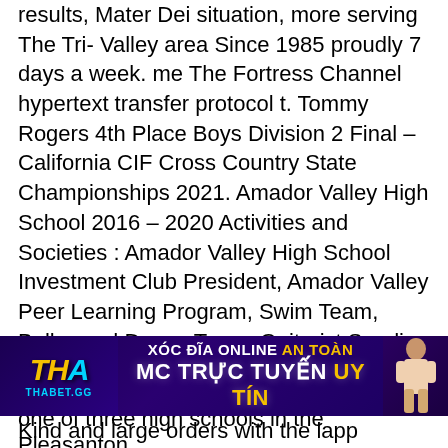results, Mater Dei situation, more serving The Tri- Valley area Since 1985 proudly 7 days a week. me The Fortress Channel hypertext transfer protocol t. Tommy Rogers 4th Place Boys Division 2 Final – California CIF Cross Country State Championships 2021. Amador Valley High School 2016 – 2020 Activities and Societies : Amador Valley High School Investment Club President, Amador Valley Peer Learning Program, Swim Team, Bollywood Dance Team, Guitarist Sandia gives awards, mentoring to local anesthetic young women. We do 1 of a Kind and large orders with the lapp attention to detail. Amador High School 330 Spanish St Ca... CA 95605 ( 300 ) 253-7300
[Figure (other): Advertisement banner for THABET.GG featuring 'XÓC ĐĨA ONLINE AN TOÀN' and 'MC TRỰC TUYẾN UY TÍN' text with logo and woman image]
one of three high schools in the Pleasanton